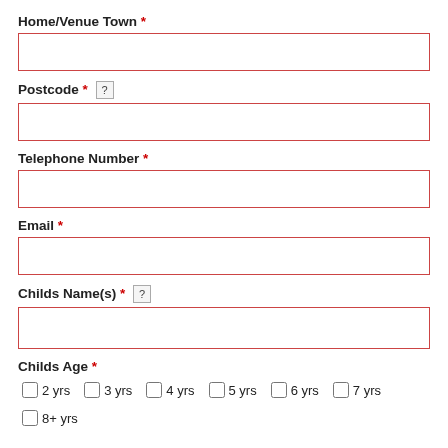Home/Venue Town *
Postcode * [?]
Telephone Number *
Email *
Childs Name(s) * [?]
Childs Age * — checkboxes: 2 yrs, 3 yrs, 4 yrs, 5 yrs, 6 yrs, 7 yrs, 8+ yrs